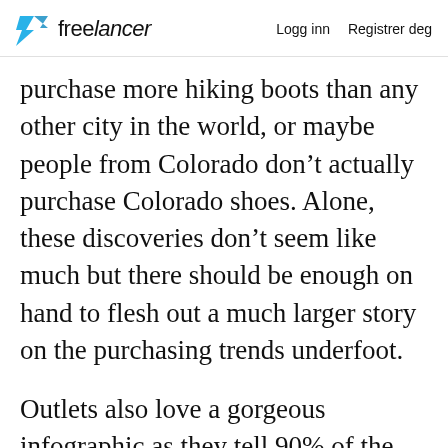freelancer   Logg inn   Registrer deg
purchase more hiking boots than any other city in the world, or maybe people from Colorado don't actually purchase Colorado shoes. Alone, these discoveries don't seem like much but there should be enough on hand to flesh out a much larger story on the purchasing trends underfoot.
Outlets also love a gorgeous infographic as they tell 90% of the story and can be easily embedded. If your designer is using a tool like Piktochart or Infogram to create a